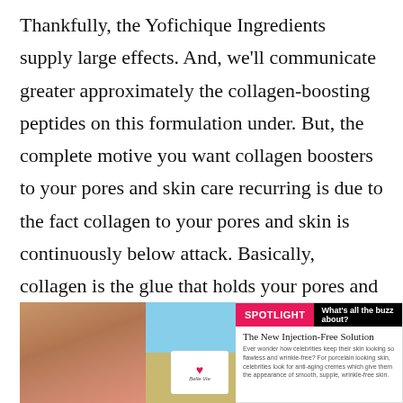Thankfully, the Yofichique Ingredients supply large effects. And, we'll communicate greater approximately the collagen-boosting peptides on this formulation under. But, the complete motive you want collagen boosters to your pores and skin care recurring is due to the fact collagen to your pores and skin is continuously below attack. Basically, collagen is the glue that holds your pores and Skin in place. So, when you begin dropping that glue, your pores and skin sags, and wrinkles form.
[Figure (photo): Spotlight advertisement box with a woman's face on the left, a beach scene with a 'Belle Vie' card in the center, and a 'SPOTLIGHT - What's all the buzz about?' header on the right with text about 'The New Injection-Free Solution'.]